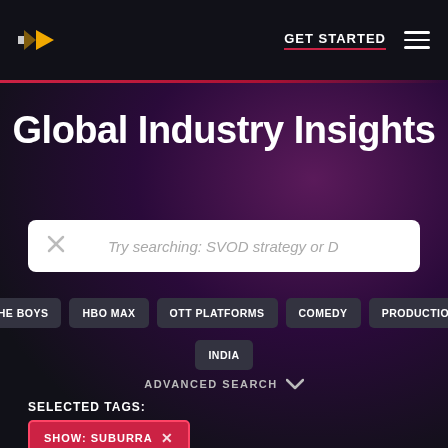GET STARTED
Global Industry Insights
Try searching: SVOD strategy or D
THE BOYS
HBO MAX
OTT PLATFORMS
COMEDY
PRODUCTION
INDIA
ADVANCED SEARCH
SELECTED TAGS:
SHOW: SUBURRA